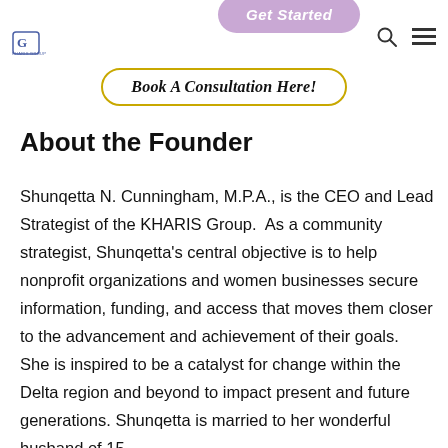Get Started | KHARIS Group logo | search icon | menu icon
Book A Consultation Here!
About the Founder
Shunqetta N. Cunningham, M.P.A., is the CEO and Lead Strategist of the KHARIS Group.  As a community strategist, Shunqetta's central objective is to help nonprofit organizations and women businesses secure information, funding, and access that moves them closer to the advancement and achievement of their goals.  She is inspired to be a catalyst for change within the Delta region and beyond to impact present and future generations. Shunqetta is married to her wonderful husband of 15